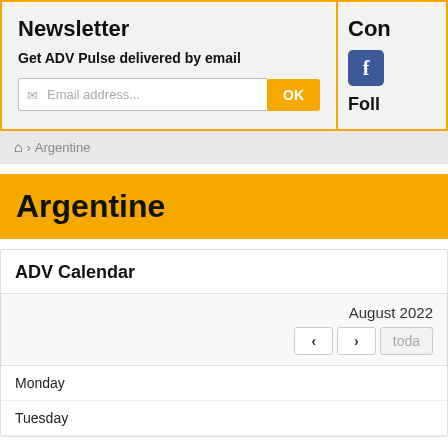Newsletter
Get ADV Pulse delivered by email
Email address...
Con
Follo
> Argentine
Argentine
ADV Calendar
August 2022
Monday
Tuesday